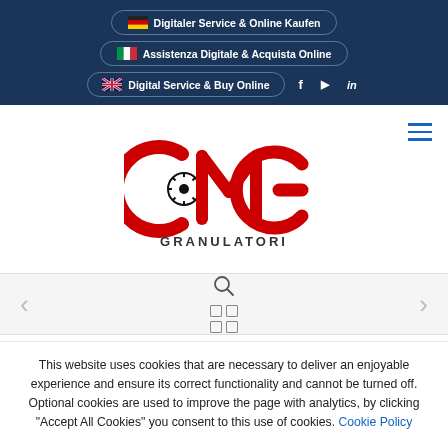[Figure (screenshot): Navigation bar with three language buttons (German, Italian, English) and social icons (Facebook, Play, LinkedIn) on dark blue background]
[Figure (logo): CMG Granulatori logo in red with black gear/circle icon in the C letter]
[Figure (screenshot): Middle navigation bar with search icon, grid icon, left and right arrows]
This website uses cookies that are necessary to deliver an enjoyable experience and ensure its correct functionality and cannot be turned off. Optional cookies are used to improve the page with analytics, by clicking "Accept All Cookies" you consent to this use of cookies. Cookie Policy